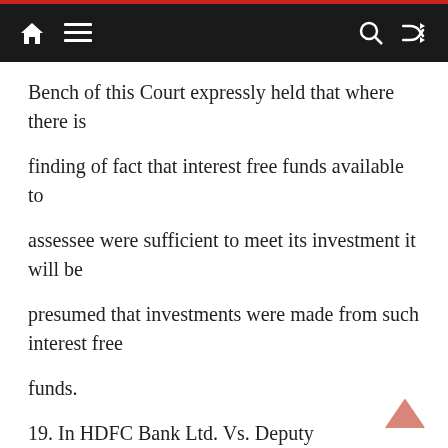Navigation bar with home, menu, search, and shuffle icons
Bench of this Court expressly held that where there is
finding of fact that interest free funds available to
assessee were sufficient to meet its investment it will be
presumed that investments were made from such interest free
funds.
19. In HDFC Bank Ltd. Vs. Deputy Commissioner of Income
Tax4, the assessee was a Scheduled Bank and the